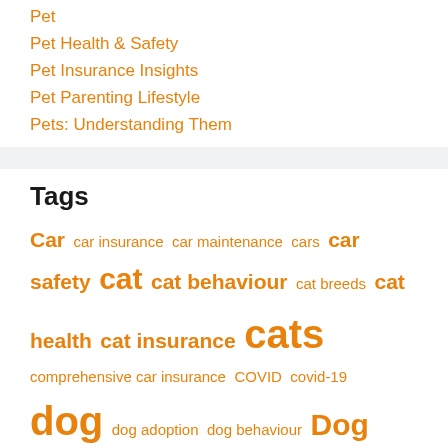Pet
Pet Health & Safety
Pet Insurance Insights
Pet Parenting Lifestyle
Pets: Understanding Them
Tags
Car car insurance car maintenance cars car safety cat cat behaviour cat breeds cat health cat insurance cats comprehensive car insurance COVID covid-19 dog dog adoption dog behaviour Dog Breeds dog food